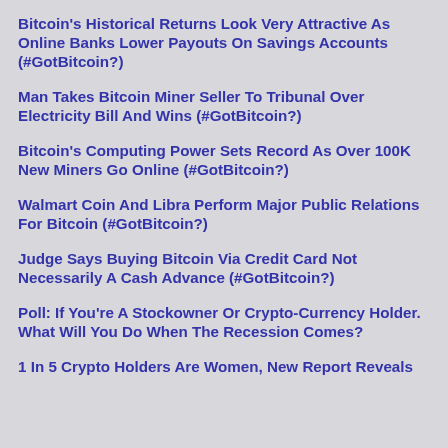Bitcoin's Historical Returns Look Very Attractive As Online Banks Lower Payouts On Savings Accounts (#GotBitcoin?)
Man Takes Bitcoin Miner Seller To Tribunal Over Electricity Bill And Wins (#GotBitcoin?)
Bitcoin's Computing Power Sets Record As Over 100K New Miners Go Online (#GotBitcoin?)
Walmart Coin And Libra Perform Major Public Relations For Bitcoin (#GotBitcoin?)
Judge Says Buying Bitcoin Via Credit Card Not Necessarily A Cash Advance (#GotBitcoin?)
Poll: If You're A Stockowner Or Crypto-Currency Holder. What Will You Do When The Recession Comes?
1 In 5 Crypto Holders Are Women, New Report Reveals